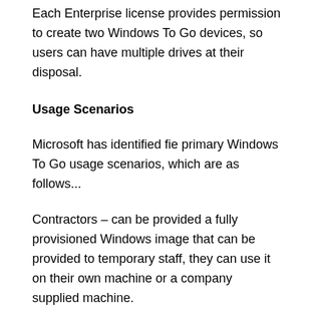Each Enterprise license provides permission to create two Windows To Go devices, so users can have multiple drives at their disposal.
Usage Scenarios
Microsoft has identified fie primary Windows To Go usage scenarios, which are as follows...
Contractors – can be provided a fully provisioned Windows image that can be provided to temporary staff, they can use it on their own machine or a company supplied machine.
BYOD (at work) – the regular employee equivalent of the contractor scenario